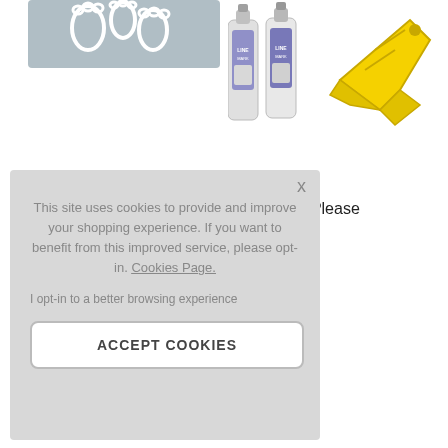[Figure (photo): Gray floor mat with white footprint markings (product image)]
[Figure (photo): Two LINEMAR spray cans (product image)]
[Figure (photo): Yellow line marker applicator tool (product image)]
BEAVERSWOOD
Kits - Please
This site uses cookies to provide and improve your shopping experience. If you want to benefit from this improved service, please opt-in. Cookies Page.

I opt-in to a better browsing experience

ACCEPT COOKIES